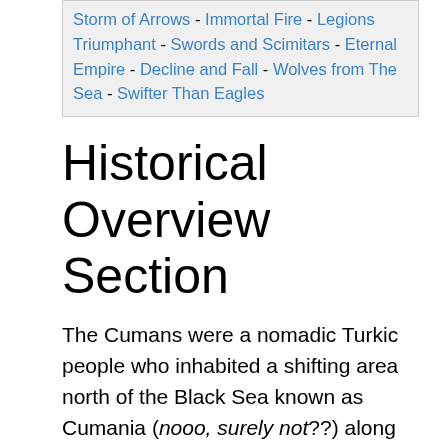Storm of Arrows - Immortal Fire - Legions Triumphant - Swords and Scimitars - Eternal Empire - Decline and Fall - Wolves from The Sea - Swifter Than Eagles
Historical Overview Section
The Cumans were a nomadic Turkic people who inhabited a shifting area north of the Black Sea known as Cumania (nooo, surely not??) along the Volga River. They eventually settled to the west of the Black Sea and played a role in the development of Bulgaria, Serbia, Hungary, Moldavia, and Wallachia.
The first burst upon the world stage when they came into the grasslands of Eastern Europe in the 11th century, from where they launched attacks and raids on the Byzantine Empire, the Middle Hungarians and